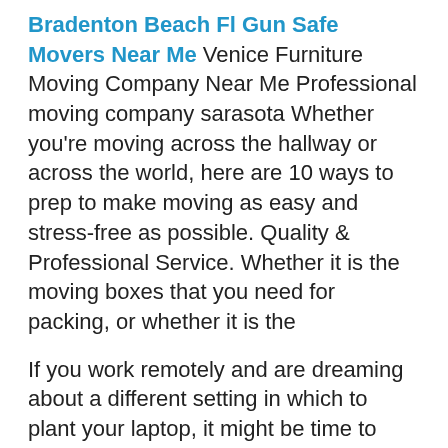Bradenton Beach Fl Gun Safe Movers Near Me Venice Furniture Moving Company Near Me Professional moving company sarasota Whether you're moving across the hallway or across the world, here are 10 ways to prep to make moving as easy and stress-free as possible. Quality & Professional Service. Whether it is the moving boxes that you need for packing, or whether it is the
If you work remotely and are dreaming about a different setting in which to plant your laptop, it might be time to make a move: States and cities are starting to offer cash incentives to people who move to their areas. If you work remotely ...